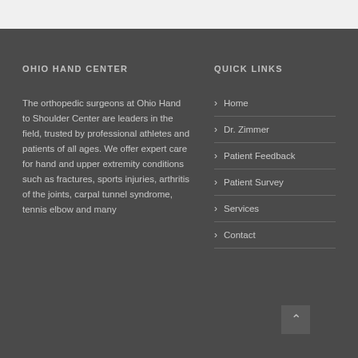OHIO HAND CENTER
The orthopedic surgeons at Ohio Hand to Shoulder Center are leaders in the field, trusted by professional athletes and patients of all ages. We offer expert care for hand and upper extremity conditions such as fractures, sports injuries, arthritis of the joints, carpal tunnel syndrome, tennis elbow and many
QUICK LINKS
Home
Dr. Zimmer
Patient Feedback
Patient Survey
Services
Contact